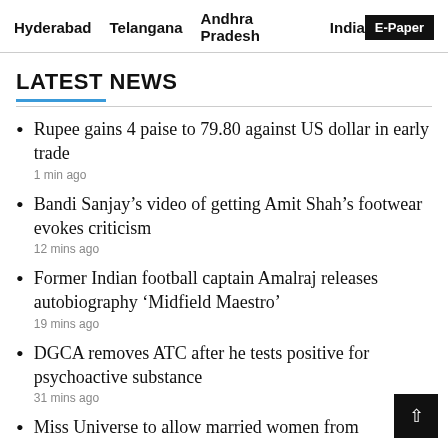Hyderabad   Telangana   Andhra Pradesh   India   E-Paper
LATEST NEWS
Rupee gains 4 paise to 79.80 against US dollar in early trade
1 min ago
Bandi Sanjay’s video of getting Amit Shah’s footwear evokes criticism
12 mins ago
Former Indian football captain Amalraj releases autobiography ‘Midfield Maestro’
19 mins ago
DGCA removes ATC after he tests positive for psychoactive substance
31 mins ago
Miss Universe to allow married women from